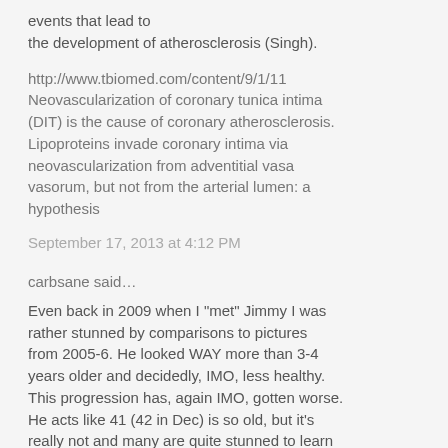events that lead to the development of atherosclerosis (Singh).
http://www.tbiomed.com/content/9/1/11 Neovascularization of coronary tunica intima (DIT) is the cause of coronary atherosclerosis. Lipoproteins invade coronary intima via neovascularization from adventitial vasa vasorum, but not from the arterial lumen: a hypothesis
September 17, 2013 at 4:12 PM
carbsane said...
Even back in 2009 when I "met" Jimmy I was rather stunned by comparisons to pictures from 2005-6. He looked WAY more than 3-4 years older and decidedly, IMO, less healthy. This progression has, again IMO, gotten worse. He acts like 41 (42 in Dec) is so old, but it's really not and many are quite stunned to learn he is *only* that age.
...